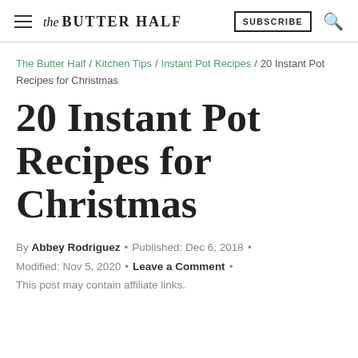the BUTTER HALF  SUBSCRIBE
The Butter Half / Kitchen Tips / Instant Pot Recipes / 20 Instant Pot Recipes for Christmas
20 Instant Pot Recipes for Christmas
By Abbey Rodriguez • Published: Dec 6, 2018 • Modified: Nov 5, 2020 • Leave a Comment • This post may contain affiliate links.